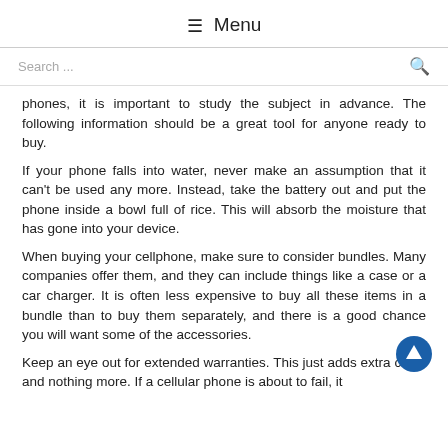☰ Menu
Search ...
phones, it is important to study the subject in advance. The following information should be a great tool for anyone ready to buy.
If your phone falls into water, never make an assumption that it can't be used any more. Instead, take the battery out and put the phone inside a bowl full of rice. This will absorb the moisture that has gone into your device.
When buying your cellphone, make sure to consider bundles. Many companies offer them, and they can include things like a case or a car charger. It is often less expensive to buy all these items in a bundle than to buy them separately, and there is a good chance you will want some of the accessories.
Keep an eye out for extended warranties. This just adds extra costs and nothing more. If a cellular phone is about to fail, it